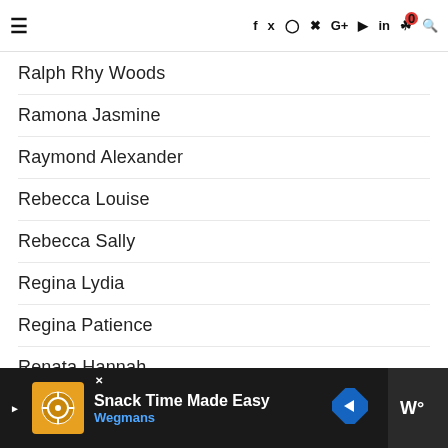Navigation header with hamburger menu and social icons: f, twitter, instagram, pinterest, G+, youtube, in, cart (0), search
Ralph Rhy Woods
Ramona Jasmine
Raymond Alexander
Rebecca Louise
Rebecca Sally
Regina Lydia
Regina Patience
Renata Hannah
Reva Ashleigh
Rhonda Ahha
Rhys Bryce
Riley Charlotte
[Figure (screenshot): Advertisement banner: Snack Time Made Easy - Wegmans, with orange logo image, blue navigation arrow icon, and dark right panel with W° logo]